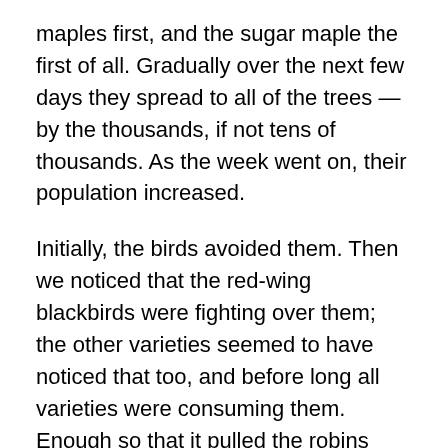maples first, and the sugar maple the first of all. Gradually over the next few days they spread to all of the trees — by the thousands, if not tens of thousands. As the week went on, their population increased.
Initially, the birds avoided them. Then we noticed that the red-wing blackbirds were fighting over them; the other varieties seemed to have noticed that too, and before long all varieties were consuming them. Enough so that it pulled the robins away from my cherry tree (getting old and not producing as well as it did when it was younger) enough that yesterday I was able to pick about 8 quarts for the first time since before the drought. In years past, the birds moved in